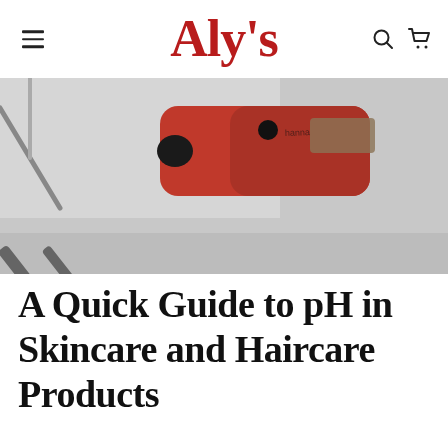Aly's
[Figure (photo): Close-up photograph of a red and black pH meter probe resting on a surface, shot from an angle showing the digital meter head and the slim probe tip.]
A Quick Guide to pH in Skincare and Haircare Products